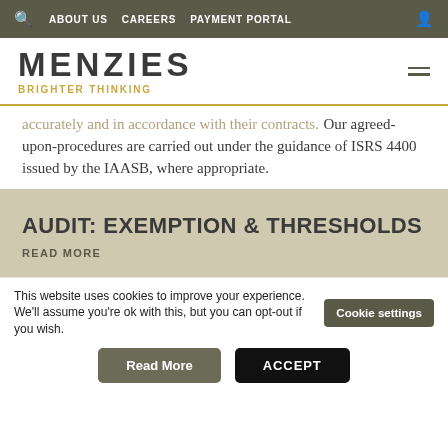🔍  ABOUT US   CAREERS   PAYMENT PORTAL   👤
[Figure (logo): Menzies logo with wordmark 'MENZIES' in large uppercase letters and tagline 'BRIGHTER THINKING' in gold below]
accurately and in accordance with their contracts. Our agreed-upon-procedures are carried out under the guidance of ISRS 4400 issued by the IAASB, where appropriate.
AUDIT: EXEMPTION & THRESHOLDS
READ MORE
This website uses cookies to improve your experience. We'll assume you're ok with this, but you can opt-out if you wish.
Cookie settings
Read More
ACCEPT